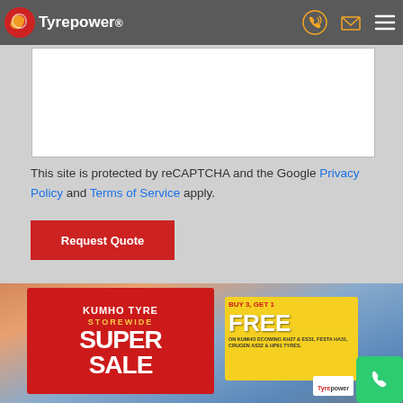Tyrepower
[Figure (screenshot): White form box area (reCAPTCHA widget area)]
This site is protected by reCAPTCHA and the Google Privacy Policy and Terms of Service apply.
[Figure (other): Red 'Request Quote' button]
[Figure (photo): Kumho Tyre Storewide Super Sale promotional banner advertisement with outdoor billboard photo. Text reads: KUMHO TYRE, STOREWIDE, SUPER SALE, BUY 3, GET 1 FREE, ON KUMHO ECOWING KH27 & ES31, FESTA HA31, CRUGEN AS32 & HP91 TYRES. Tyrepower logo visible.]